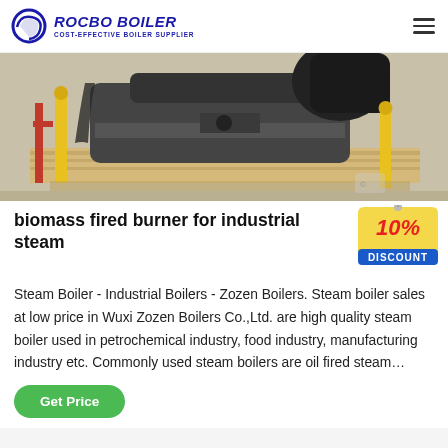ROCBO BOILER — COST-EFFECTIVE BOILER SUPPLIER
[Figure (photo): Industrial boiler machinery on a wooden pallet in a factory/warehouse setting, showing dark heavy equipment, pipes, and yellow poles]
biomass fired burner for industrial steam
[Figure (infographic): 10% DISCOUNT badge/tag in yellow and red]
Steam Boiler - Industrial Boilers - Zozen Boilers. Steam boiler sales at low price in Wuxi Zozen Boilers Co.,Ltd. are high quality steam boiler used in petrochemical industry, food industry, manufacturing industry etc. Commonly used steam boilers are oil fired steam…
Get Price